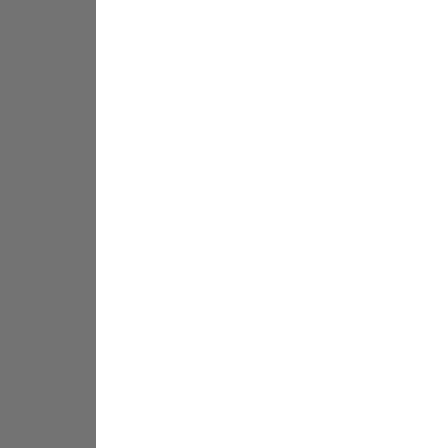1 tbs olive oil
1 tsp cumin seed
1 medium onion, finely c
1 tbs fresh ginger, peele
1 pound red potatoes (a cubes
1 cup frozen peas, thaw
1/4 cup chopped fresh c
1 tbs ground coriander
1 tbs mango powder (ar
2-3 fresh chiles, finely c
1 tsp ground cumin
1 tsp salt (or to taste)
To assemble galette:
1 egg, lightly beaten
Suggested accompanim grocery stores)
Make dough: Combine f butter, and pulse until m pulsing a couple times a not use all the water). T